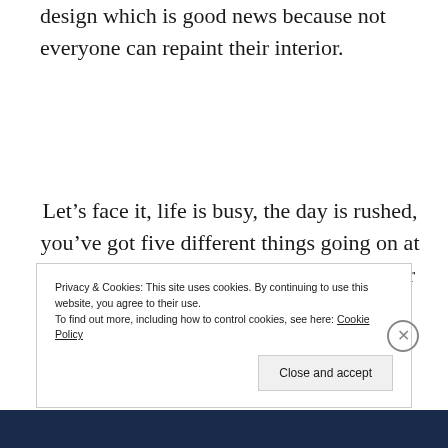design which is good news because not everyone can repaint their interior.
Let’s face it, life is busy, the day is rushed, you’ve got five different things going on at any one moment. So if you need peace, or passion, or energy, and you
Privacy & Cookies: This site uses cookies. By continuing to use this website, you agree to their use.
To find out more, including how to control cookies, see here: Cookie Policy
Close and accept